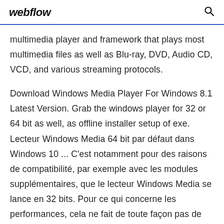webflow
multimedia player and framework that plays most multimedia files as well as Blu-ray, DVD, Audio CD, VCD, and various streaming protocols.
Download Windows Media Player For Windows 8.1 Latest Version. Grab the windows player for 32 or 64 bit as well, as offline installer setup of exe. Lecteur Windows Media 64 bit par défaut dans Windows 10 ... C'est notamment pour des raisons de compatibilité, par exemple avec les modules supplémentaires, que le lecteur Windows Media se lance en 32 bits. Pour ce qui concerne les performances, cela ne fait de toute façon pas de grandes différences